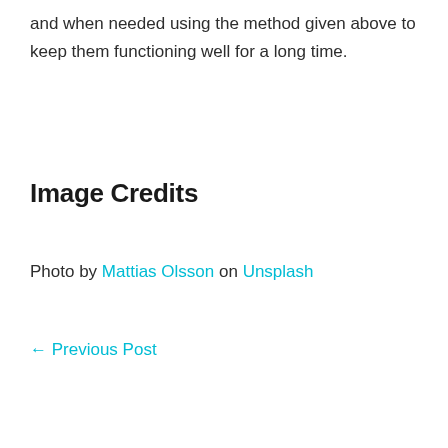and when needed using the method given above to keep them functioning well for a long time.
Image Credits
Photo by Mattias Olsson on Unsplash
← Previous Post